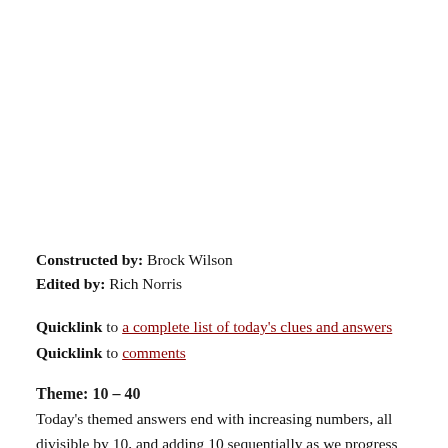Constructed by: Brock Wilson
Edited by: Rich Norris
Quicklink to a complete list of today's clues and answers
Quicklink to comments
Theme: 10 – 40
Today's themed answers end with increasing numbers, all divisible by 10, and adding 10 sequentially as we progress through the grid.